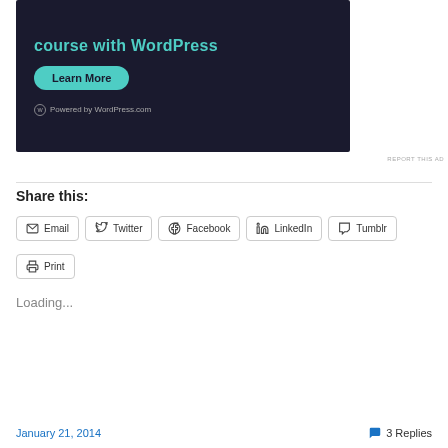[Figure (screenshot): WordPress.com ad banner with dark background, teal text 'course with WordPress', a teal 'Learn More' button, and 'Powered by WordPress.com' at the bottom.]
REPORT THIS AD
Share this:
Email  Twitter  Facebook  LinkedIn  Tumblr  Print
Loading...
January 21, 2014   3 Replies